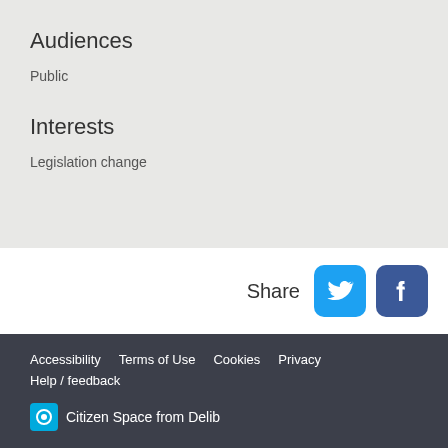Audiences
Public
Interests
Legislation change
Share
Accessibility  Terms of Use  Cookies  Privacy  Help / feedback  Citizen Space from Delib